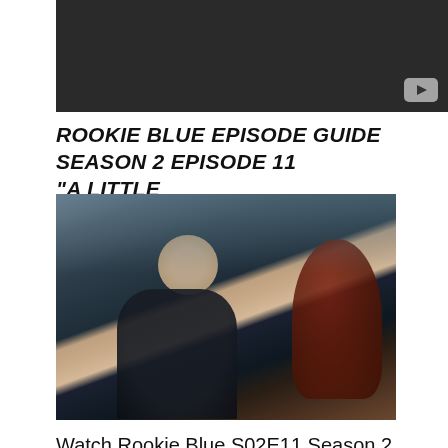[Figure (screenshot): Dark video thumbnail with YouTube play button in bottom right corner]
ROOKIE BLUE EPISODE GUIDE SEASON 2 EPISODE 11 "A LITTLE
[Figure (photo): A police officer in uniform smiling, with a woman with red braided hair in the foreground from behind]
Watch Rookie Blue S02E11 Season 2 Episode 11 coolseries.co. Download Rookie Blue season 5 for free. No registration needed. All episodes of Rookie Blue season 5 avaliable!, Rookie Blue season 5 episode guide on TV.co. Watch all on